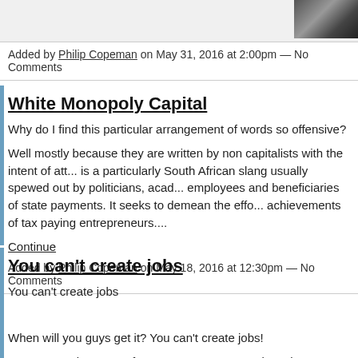[Figure (photo): Partial photo visible in top-right corner, dark tones]
Added by Philip Copeman on May 31, 2016 at 2:00pm — No Comments
White Monopoly Capital
Why do I find this particular arrangement of words so offensive?
Well mostly because they are written by non capitalists with the intent of att... is a particularly South African slang usually spewed out by politicians, acad... employees and beneficiaries of state payments. It seeks to demean the effo... achievements of tax paying entrepreneurs....
Continue
Added by Philip Copeman on May 18, 2016 at 12:30pm — No Comments
You can't create jobs
You can't create jobs
When will you guys get it? You can't create jobs!
You can't make money from some tax payer and pay it over to a worthy wo... taking it away from some other worthy worker first. You can't make a compa... worthy worker, without getting that money from another worthy worker alrea... company. You can't take money from some heinous capitalist…